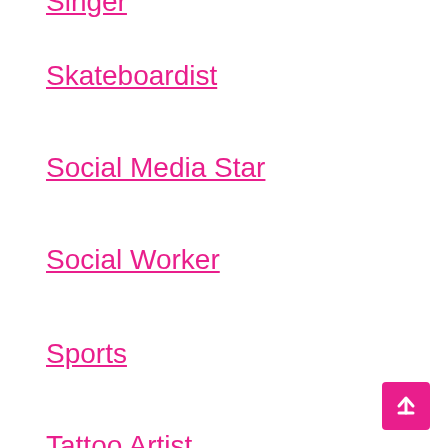Singer
Skateboardist
Social Media Star
Social Worker
Sports
Tattoo Artist
TikTok Star
TV Show
Tv Show Host
Twitch Star
Uncategorized
Wrestler